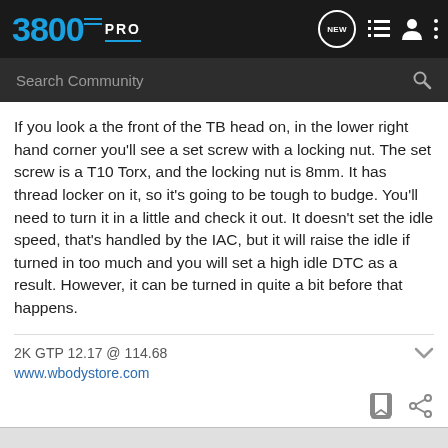3800PRO — mobile app header with NEW, list, user, and menu icons
Search Community
If you look a the front of the TB head on, in the lower right hand corner you'll see a set screw with a locking nut. The set screw is a T10 Torx, and the locking nut is 8mm. It has thread locker on it, so it's going to be tough to budge. You'll need to turn it in a little and check it out. It doesn't set the idle speed, that's handled by the IAC, but it will raise the idle if turned in too much and you will set a high idle DTC as a result. However, it can be turned in quite a bit before that happens.
2K GTP 12.17 @ 114.68
www.wbodystore.com